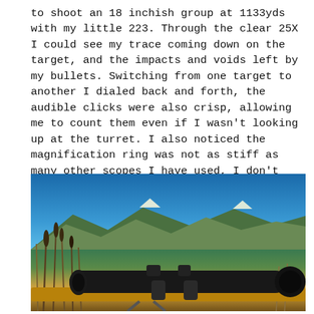to shoot an 18 inchish group at 1133yds with my little 223. Through the clear 25X I could see my trace coming down on the target, and the impacts and voids left by my bullets. Switching from one target to another I dialed back and forth, the audible clicks were also crisp, allowing me to count them even if I wasn't looking up at the turret. I also noticed the magnification ring was not as stiff as many other scopes I have used, I don't think a cattail would be needed on these scopes but for serious competition.
[Figure (photo): Photograph of a rifle with a large telescopic scope mounted on it, positioned outdoors with a blue sky, mountains, and tall reeds/cattails visible in the background. The rifle appears to be on a shooting rest. The scope is large and black.]